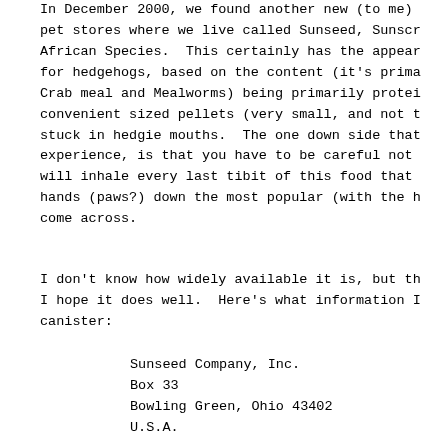In December 2000, we found another new (to me) pet stores where we live called Sunseed, Sunscr African Species.  This certainly has the appear for hedgehogs, based on the content (it's prima Crab meal and Mealworms) being primarily protei convenient sized pellets (very small, and not t stuck in hedgie mouths.  The one down side that experience, is that you have to be careful not will inhale every last tibit of this food that hands (paws?) down the most popular (with the h come across.
I don't know how widely available it is, but th I hope it does well.  Here's what information I canister:
Sunseed Company, Inc.
Box 33
Bowling Green, Ohio 43402
U.S.A.